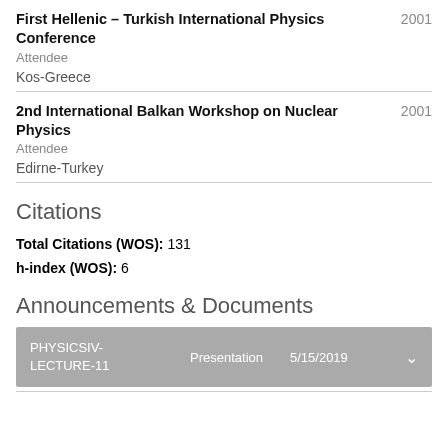First Hellenic – Turkish International Physics Conference 2001
Attendee
Kos-Greece
2nd International Balkan Workshop on Nuclear Physics 2001
Attendee
Edirne-Turkey
Citations
Total Citations (WOS): 131
h-index (WOS): 6
Announcements & Documents
| Name | Type | Date |  |
| --- | --- | --- | --- |
| PHYSICSIV-LECTURE-11 | Presentation | 5/15/2019 |  |